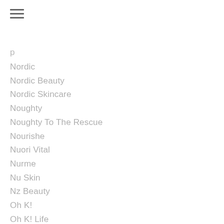Nordic
Nordic Beauty
Nordic Skincare
Noughty
Noughty To The Rescue
Nourishe
Nuori Vital
Nurme
Nu Skin
Nz Beauty
Oh K!
Oh K! Life
Open
Organic
Organic Beauty
Organic Skincare
Organic Works
Orghous